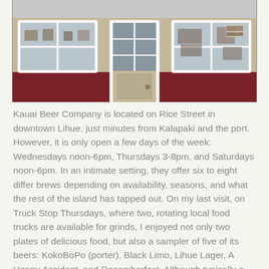[Figure (photo): Exterior photo of Kauai Beer Company storefront on Rice Street, showing large windows with signs, a dark red lower facade, and a central door with glass panes.]
Kauai Beer Company is located on Rice Street in downtown Lihue, just minutes from Kalapaki and the port. However, it is only open a few days of the week: Wednesdays noon-6pm, Thursdays 3-8pm, and Saturdays noon-6pm. In an intimate setting, they offer six to eight differ brews depending on availability, seasons, and what the rest of the island has tapped out. On my last visit, on Truck Stop Thursdays, where two, rotating local food trucks are available for grinds, I enjoyed not only two plates of delicious food, but also a sampler of five of its beers: KokoBoPo (porter), Black Limo, Lihue Lager, A Hoppy Accident, and Decemberfest. Although typically a lager type of girl raised in Wisconsin, I ordered a pint of Black Limo, a Schwarzbier beer, dark in color with a light toasted flavor finished with a hint of coffee, as my repeat